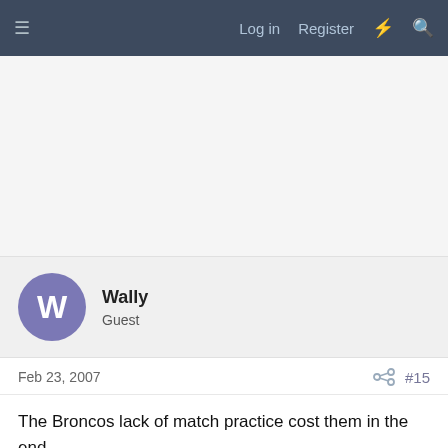≡   Log in   Register   ⚡   🔍
[Figure (other): Blank advertisement area]
Wally
Guest
Feb 23, 2007   #15
The Broncos lack of match practice cost them in the end. They certainly weren't as hungry as the red and white team (c